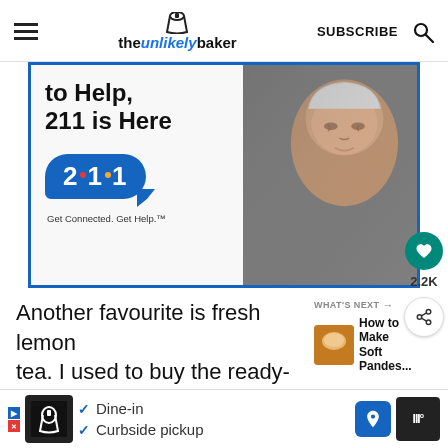theunlikelybaker — SUBSCRIBE
[Figure (advertisement): 211 service advertisement: 'to Help, 211 is Here' with elderly man photo and 2·1·1 bubble logo. Get Connected. Get Help.]
Another favourite is fresh lemon tea. I used to buy the ready-made ones b... (a... ard
[Figure (infographic): WHAT'S NEXT → How to Make Soft Pandes... thumbnail]
[Figure (advertisement): Bottom bar ad: Dine-in, Curbside pickup options with restaurant logo and navigation arrow]